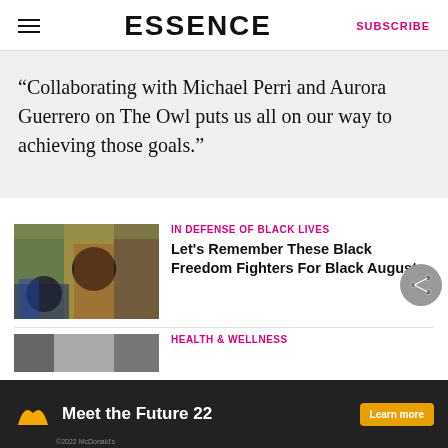ESSENCE | SUBSCRIBE
“Collaborating with Michael Perri and Aurora Guerrero on The Owl puts us all on our way to achieving those goals.”
IN DEFENSE OF BLACK LIVES
Let’s Remember These Black Freedom Fighters For Black August
HEALTH & WELLNESS
[Figure (photo): Ad banner: McDonald’s ‘Meet the Future 22’ with Learn more button on dark background]